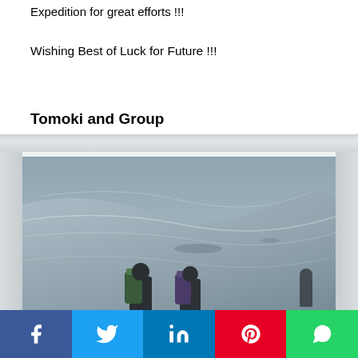Expedition for great efforts !!!
Wishing Best of Luck for Future !!!
Tomoki and Group
[Figure (photo): Two mountaineers with large backpacks standing on a snow-covered slope, viewed from behind against a snowy mountain landscape.]
Facebook | Twitter | LinkedIn | Pinterest | WhatsApp